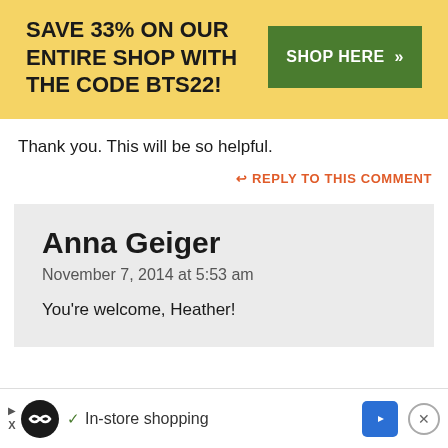[Figure (infographic): Yellow promotional banner: 'SAVE 33% ON OUR ENTIRE SHOP WITH THE CODE BTS22!' with a green 'SHOP HERE >>' button]
Thank you. This will be so helpful.
↩ REPLY TO THIS COMMENT
Anna Geiger
November 7, 2014 at 5:53 am
You're welcome, Heather!
[Figure (infographic): Advertisement bar at bottom with logo circle, checkmark, 'In-store shopping' text, navigation arrow icon, and close button]